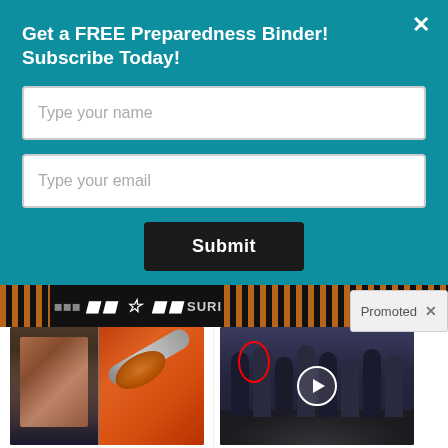Get a FREE Preparedness Binder! Subscribe Today!
[Figure (screenshot): Name input field with placeholder text 'Type your name']
[Figure (screenshot): Email input field with placeholder text 'Type your email']
[Figure (screenshot): Submit button in black]
Promoted
[Figure (photo): Ad image showing a fitness person and a spoon with spices, promoting fat burning teaspoon tip]
A Teaspoon On An Empty Stomach Burns Fat Like Crazy!
170,385
[Figure (photo): Ad image showing a group of men in suits at CIA headquarters with one circled in red]
Biden Probably Wants This Video Destroyed — Massive Currency Upheaval Has Started
323,543